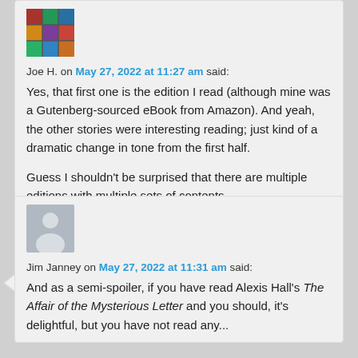[Figure (photo): Stained glass image avatar for Joe H.]
Joe H. on May 27, 2022 at 11:27 am said:
Yes, that first one is the edition I read (although mine was a Gutenberg-sourced eBook from Amazon). And yeah, the other stories were interesting reading; just kind of a dramatic change in tone from the first half.
Guess I shouldn't be surprised that there are multiple editions with multiple sets of contents.
[Figure (illustration): Generic grey avatar placeholder for Jim Janney]
Jim Janney on May 27, 2022 at 11:31 am said:
And as a semi-spoiler, if you have read Alexis Hall's The Affair of the Mysterious Letter and you should, it's delightful, but you have not read any...